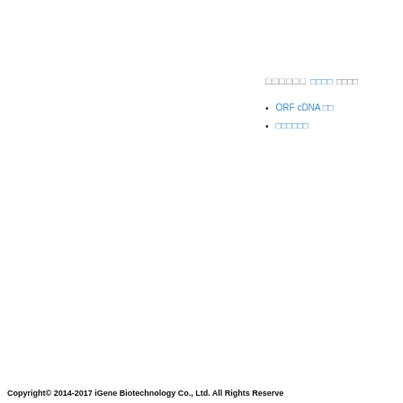□□□□□□
□□□□
□□□□
ORF cDNA □□
□□□□□□
Copyright© 2014-2017 iGene Biotechnology Co., Ltd. All Rights Reserve